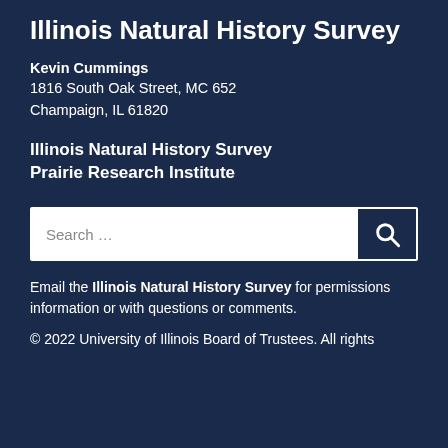Illinois Natural History Survey
Kevin Cummings
1816 South Oak Street, MC 652
Champaign, IL 61820
Illinois Natural History Survey
Prairie Research Institute
[Figure (other): Search bar with text input 'Search ...' and a dark search button with magnifying glass icon]
Email the Illinois Natural History Survey for permissions information or with questions or comments.
© 2022 University of Illinois Board of Trustees. All rights